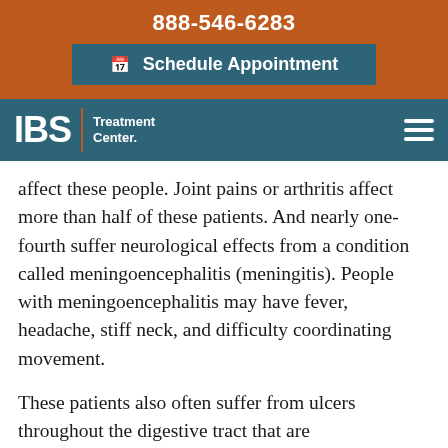888-546-6283
Schedule Appointment
IBS Treatment Center
affect these people. Joint pains or arthritis affect more than half of these patients. And nearly one-fourth suffer neurological effects from a condition called meningoencephalitis (meningitis). People with meningoencephalitis may have fever, headache, stiff neck, and difficulty coordinating movement.
These patients also often suffer from ulcers throughout the digestive tract that are